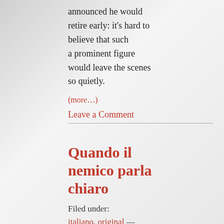announced he would retire early: it's hard to believe that such a prominent figure would leave the scenes so quietly.
(more…)
Leave a Comment
Quando il nemico parla chiaro
Filed under: italiano, original — translationcollective @ 4:59 pm
Quattro brevi testi sugli ultimi arresti NO TAV:
1 - Quando il nemico parla chiaro